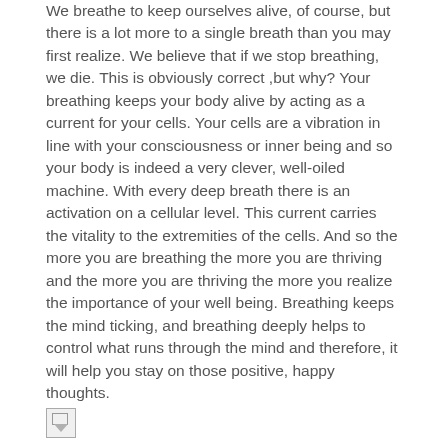We breathe to keep ourselves alive, of course, but there is a lot more to a single breath than you may first realize. We believe that if we stop breathing, we die. This is obviously correct ,but why? Your breathing keeps your body alive by acting as a current for your cells. Your cells are a vibration in line with your consciousness or inner being and so your body is indeed a very clever, well-oiled machine. With every deep breath there is an activation on a cellular level. This current carries the vitality to the extremities of the cells. And so the more you are breathing the more you are thriving and the more you are thriving the more you realize the importance of your well being. Breathing keeps the mind ticking, and breathing deeply helps to control what runs through the mind and therefore, it will help you stay on those positive, happy thoughts.
[Figure (photo): Broken image placeholder icon at bottom left]